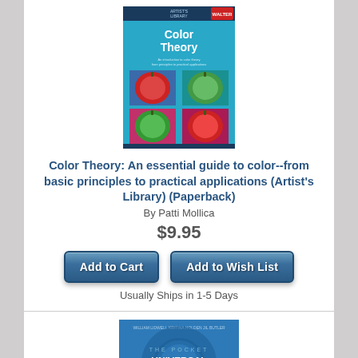[Figure (photo): Book cover of Color Theory by Patti Mollica - shows colorful painted apples on a cyan/teal background]
Color Theory: An essential guide to color--from basic principles to practical applications (Artist's Library) (Paperback)
By Patti Mollica
$9.95
Add to Cart
Add to Wish List
Usually Ships in 1-5 Days
[Figure (photo): Book cover of The Pocket Universal Principles of Design - blue cover with large white text]